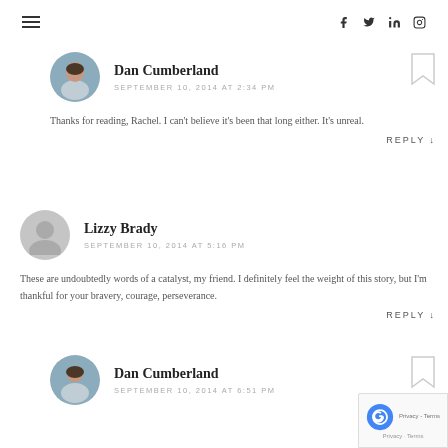≡  f  Twitter  in  Instagram
Dan Cumberland
SEPTEMBER 10, 2014 AT 2:34 PM
Thanks for reading, Rachel. I can't believe it's been that long either. It's unreal.
REPLY ↓
Lizzy Brady
SEPTEMBER 10, 2014 AT 5:16 PM
These are undoubtedly words of a catalyst, my friend. I definitely feel the weight of this story, but I'm thankful for your bravery, courage, perseverance.
REPLY ↓
Dan Cumberland
SEPTEMBER 10, 2014 AT 6:51 PM